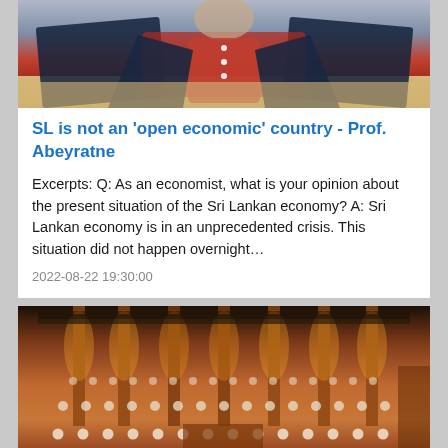[Figure (photo): Photo of a person wearing a red shirt and dark jacket, seated on a beige sofa, cropped to show torso area]
SL is not an 'open economic' country - Prof. Abeyratne
Excerpts: Q: As an economist, what is your opinion about the present situation of the Sri Lankan economy? A: Sri Lankan economy is in an unprecedented crisis. This situation did not happen overnight…
2022-08-22 19:30:00
[Figure (photo): Interior photo of the Sri Lankan Parliament chamber showing tiered rows of seats filled with members, ornate wooden paneling with warm orange/amber lighting]